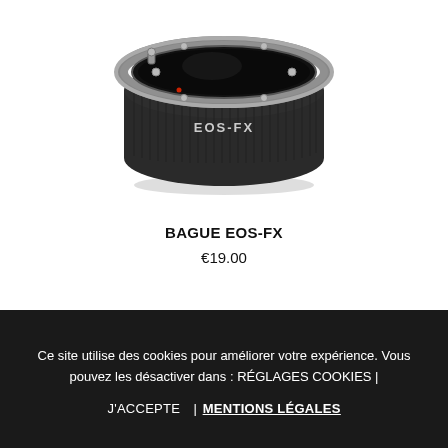[Figure (photo): A camera lens mount adapter ring labeled EOS-FX, black with silver metallic ring, viewed from a slight angle showing the interior mount.]
BAGUE EOS-FX
€19.00
Ce site utilise des cookies pour améliorer votre expérience. Vous pouvez les désactiver dans : RÉGLAGES COOKIES |
J'ACCEPTE | MENTIONS LÉGALES